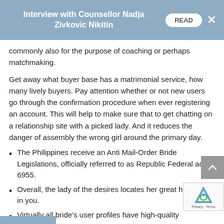Interview with Counsellor Nadja Zivkovic Nikitin
commonly also for the purpose of coaching or perhaps matchmaking.
Get away what buyer base has a matrimonial service, how many lively buyers. Pay attention whether or not new users go through the confirmation procedure when ever registering an account. This will help to make sure that to get chatting on a relationship site with a picked lady. And it reduces the danger of assembly the wrong girl around the primary day.
The Philippines receive an Anti Mail-Order Bride Legislations, officially referred to as Republic Federal act 6955.
Overall, the lady of the desires locates her great husband in you.
Virtually all bride's user profiles have high-quality